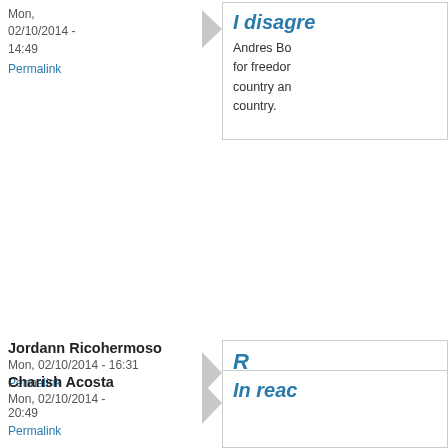Mon, 02/10/2014 - 14:49
Permalink
I disagre...
Andres Bo... for freedom... country an... country.
Jordann Ricohermoso
Mon, 02/10/2014 - 16:31
Permalink
R...
J... li... F... S... c... t... c...
Charish Acosta
Mon, 02/10/2014 - 20:49
Permalink
In reac...